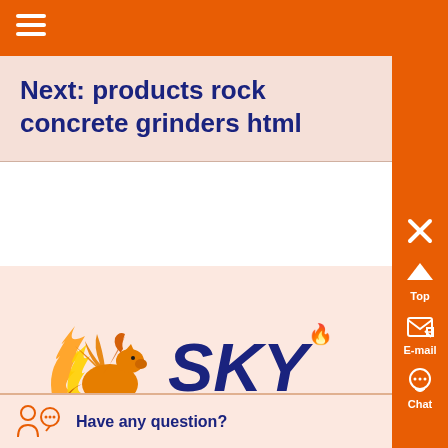Next: products rock concrete grinders html
[Figure (logo): SKY brand logo with a flaming horse/pegasus icon in orange/yellow on the left and the text 'SKY' in dark navy blue on the right with a small flame accent]
Have any question?